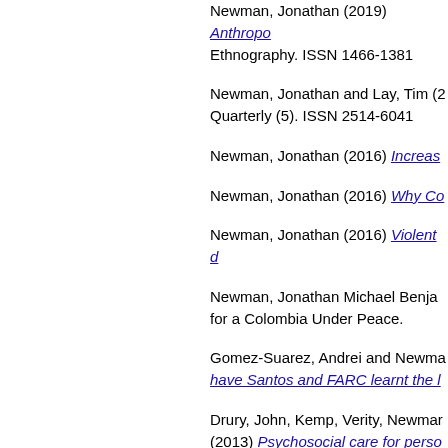Newman, Jonathan (2019) Anthropo... Ethnography. ISSN 1466-1381
Newman, Jonathan and Lay, Tim (2... Quarterly (5). ISSN 2514-6041
Newman, Jonathan (2016) Increas...
Newman, Jonathan (2016) Why Co...
Newman, Jonathan (2016) Violent d...
Newman, Jonathan Michael Benja... for a Colombia Under Peace.
Gomez-Suarez, Andrei and Newma... have Santos and FARC learnt the l...
Drury, John, Kemp, Verity, Newmar... (2013) Psychosocial care for perso... of professional first responders for ... 1472-0205
Newman, Jonathan (2011) Reflecti... 44-55. ISSN 1537-1751